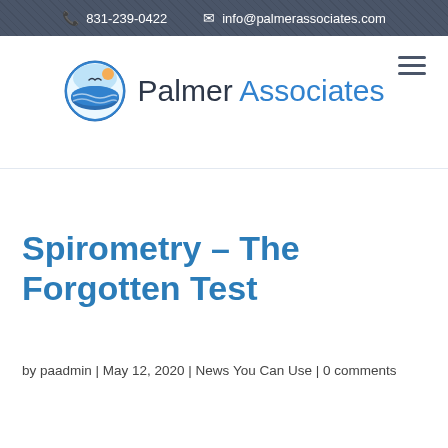831-239-0422  info@palmerassociates.com
[Figure (logo): Palmer Associates logo with circular ocean/seabird icon and text 'Palmer Associates']
Spirometry – The Forgotten Test
by paadmin | May 12, 2020 | News You Can Use | 0 comments